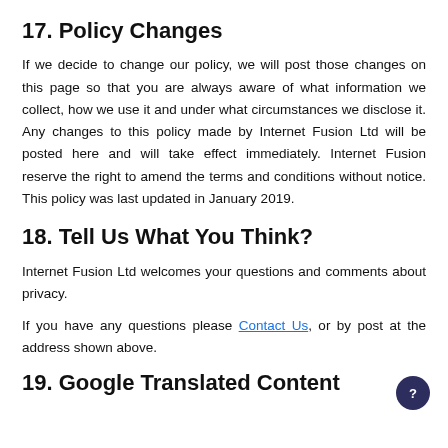17. Policy Changes
If we decide to change our policy, we will post those changes on this page so that you are always aware of what information we collect, how we use it and under what circumstances we disclose it. Any changes to this policy made by Internet Fusion Ltd will be posted here and will take effect immediately. Internet Fusion reserve the right to amend the terms and conditions without notice. This policy was last updated in January 2019.
18. Tell Us What You Think?
Internet Fusion Ltd welcomes your questions and comments about privacy.
If you have any questions please Contact Us, or by post at the address shown above.
19. Google Translated Content